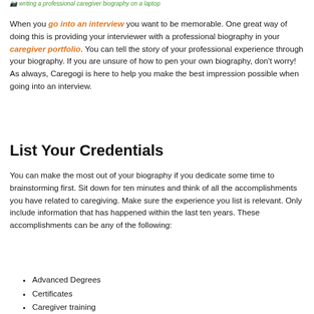[Figure (photo): writing a professional caregiver biography on a laptop]
When you go into an interview you want to be memorable. One great way of doing this is providing your interviewer with a professional biography in your caregiver portfolio. You can tell the story of your professional experience through your biography. If you are unsure of how to pen your own biography, don't worry! As always, Caregogi is here to help you make the best impression possible when going into an interview.
List Your Credentials
You can make the most out of your biography if you dedicate some time to brainstorming first. Sit down for ten minutes and think of all the accomplishments you have related to caregiving. Make sure the experience you list is relevant. Only include information that has happened within the last ten years. These accomplishments can be any of the following:
Advanced Degrees
Certificates
Caregiver training